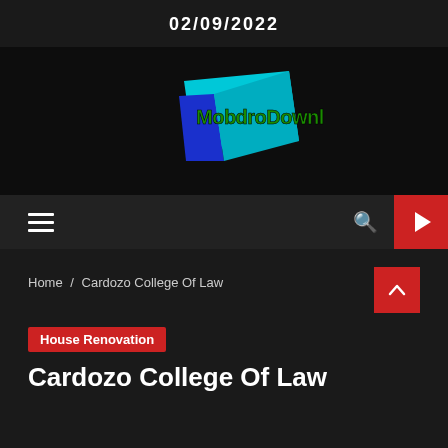02/09/2022
[Figure (logo): MobdroDownloads logo with cyan/blue tilted rectangle and green text on black background]
hamburger menu, search icon, play button navigation bar
Home / Cardozo College Of Law
House Renovation
Cardozo College Of Law